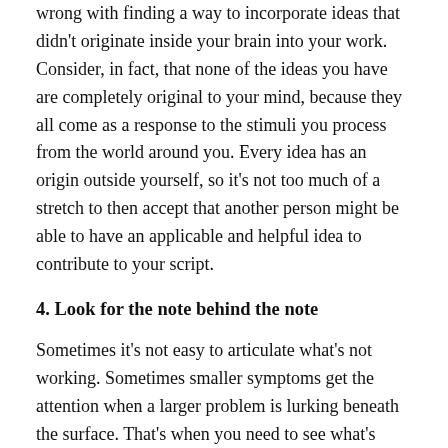wrong with finding a way to incorporate ideas that didn't originate inside your brain into your work. Consider, in fact, that none of the ideas you have are completely original to your mind, because they all come as a response to the stimuli you process from the world around you. Every idea has an origin outside yourself, so it's not too much of a stretch to then accept that another person might be able to have an applicable and helpful idea to contribute to your script.
4. Look for the note behind the note
Sometimes it's not easy to articulate what's not working. Sometimes smaller symptoms get the attention when a larger problem is lurking beneath the surface. That's when you need to see what's underlying the criticism.